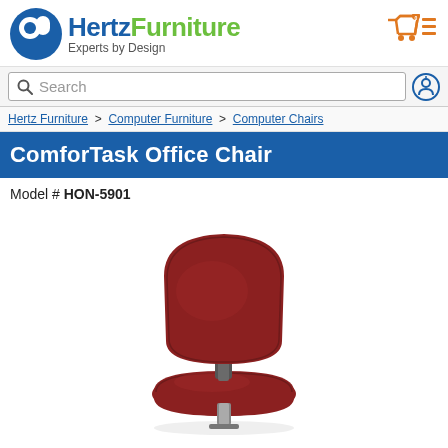Hertz Furniture — Experts by Design
Search
Hertz Furniture > Computer Furniture > Computer Chairs
ComforTask Office Chair
Model # HON-5901
[Figure (photo): ComforTask Office Chair HON-5901: a dark red/burgundy padded office chair with a rounded backrest and rounded seat cushion, connected by a short metal post, with a metal column base visible at the bottom. No armrests.]